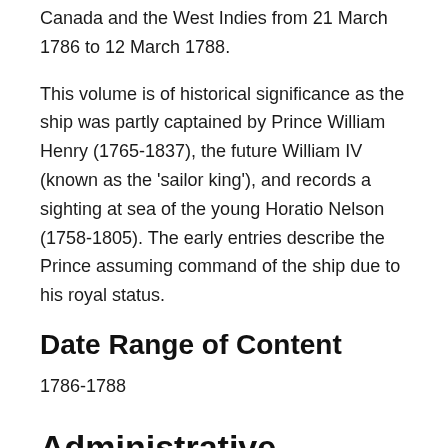Canada and the West Indies from 21 March 1786 to 12 March 1788.
This volume is of historical significance as the ship was partly captained by Prince William Henry (1765-1837), the future William IV (known as the 'sailor king'), and records a sighting at sea of the young Horatio Nelson (1758-1805). The early entries describe the Prince assuming command of the ship due to his royal status.
Date Range of Content
1786-1788
Administrative Information